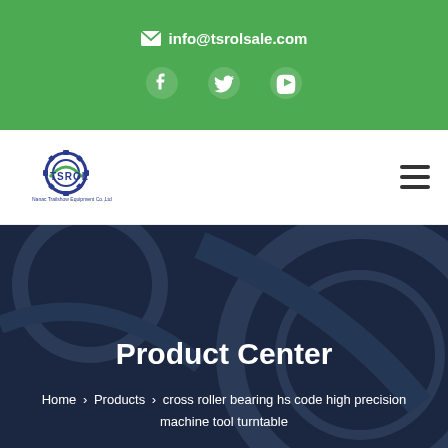✉ info@tsrolsale.com
[Figure (logo): TSROL company logo with gear icon and text 'TSROL' and subtitle 'Nanac Trailshow Equipment Co.,Ltd']
Product Center
Home > Products > cross roller bearing hs code high precision machine tool turntable